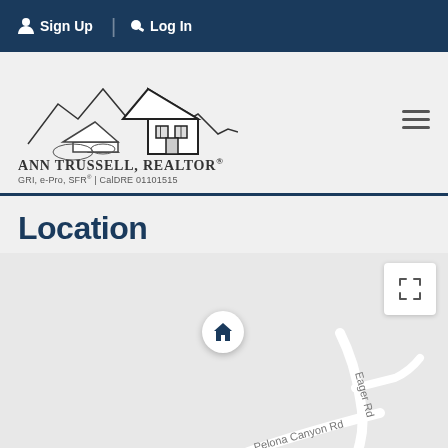Sign Up | Log In
[Figure (logo): Ann Trussell Realtor logo with house illustration, text: ANN TRUSSELL, REALTOR® GRI, e-Pro, SFR® | CalDRE 01101515]
Location
[Figure (map): Street map showing location marker at intersection of Pelona Canyon Rd and Eager Rd, with a house pin marker and a fullscreen button]